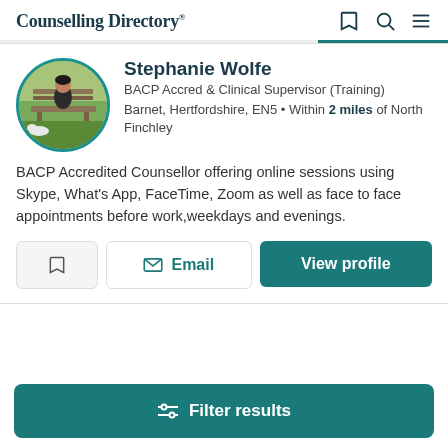Counselling Directory
[Figure (photo): Profile photo of Stephanie Wolfe, a person sitting on a bench in a garden, circular avatar with teal border]
Stephanie Wolfe
BACP Accred & Clinical Supervisor (Training)
Barnet, Hertfordshire, EN5 • Within 2 miles of North Finchley
BACP Accredited Counsellor offering online sessions using Skype, What's App, FaceTime, Zoom as well as face to face appointments before work,weekdays and evenings.
Filter results